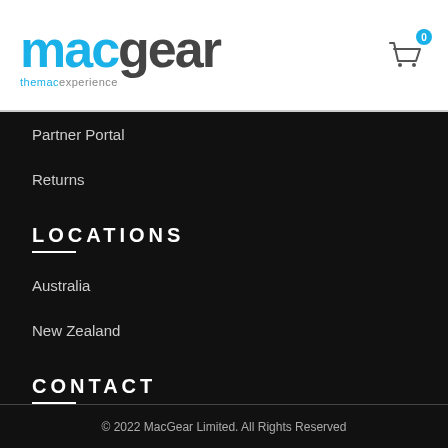macgear - themacexperience
Partner Portal
Returns
LOCATIONS
Australia
New Zealand
CONTACT
Contact Us
© 2022 MacGear Limited. All Rights Reserved